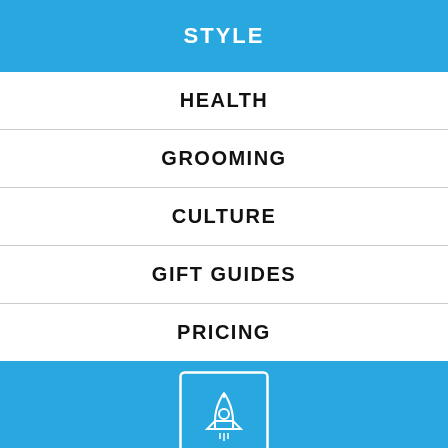STYLE
HEALTH
GROOMING
CULTURE
GIFT GUIDES
PRICING
[Figure (illustration): Rocket/launch icon in white on blue square with white border]
BECOME A PRO
If you are going to use a passage of Lorem Ipsum, you need to be sure there